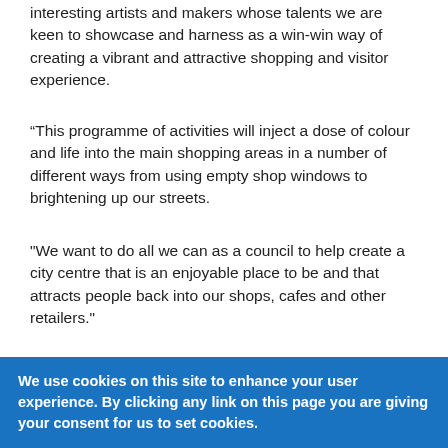interesting artists and makers whose talents we are keen to showcase and harness as a win-win way of creating a vibrant and attractive shopping and visitor experience.
“This programme of activities will inject a dose of colour and life into the main shopping areas in a number of different ways from using empty shop windows to brightening up our streets.
"We want to do all we can as a council to help create a city centre that is an enjoyable place to be and that attracts people back into our shops, cafes and other retailers."
First up is the poster takeover using artworks created by the public on WeDundee.com, which is offering people the chance
We use cookies on this site to enhance your user experience. By clicking any link on this page you are giving your consent for us to set cookies.